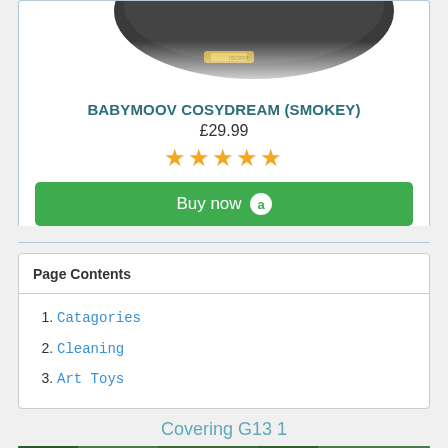[Figure (photo): Partial top view of a dark grey baby cosydream lounger product, cropped at top]
BABYMOOV COSYDREAM (SMOKEY)
£29.99
[Figure (other): Five gold star rating]
[Figure (other): Green Buy now button with Amazon logo]
Page Contents
1. Catagories
2. Cleaning
3. Art Toys
Covering G13 1
[Figure (photo): Bottom partial image strip showing green/nature scene, partially cropped, with 'lisyt' watermark]